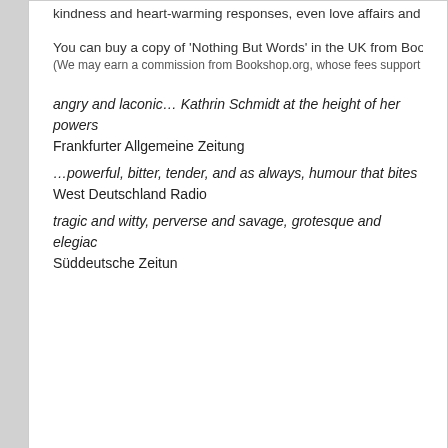kindness and heart-warming responses, even love affairs and come…
You can buy a copy of 'Nothing But Words' in the UK from Bookshop…
(We may earn a commission from Bookshop.org, whose fees support indepe…
angry and laconic… Kathrin Schmidt at the height of her powers
Frankfurter Allgemeine Zeitung
…powerful, bitter, tender, and as always, humour that bites
West Deutschland Radio
tragic and witty, perverse and savage, grotesque and elegiac
Süddeutsche Zeitun
Somewhere a blind child
© 2015 Naked Eye Publishing